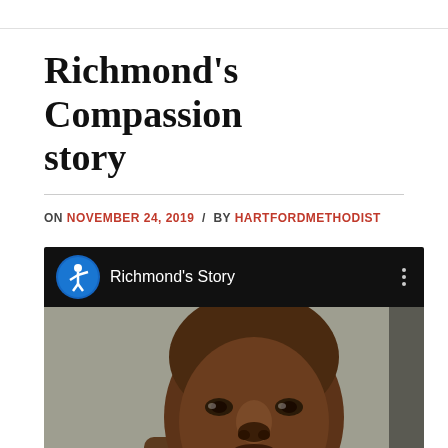Richmond's Compassion story
ON NOVEMBER 24, 2019 / BY HARTFORDMETHODIST
[Figure (screenshot): Embedded video player with Compassion International logo and 'Richmond's Story' title on black header bar, with video thumbnail showing a close-up portrait of a young man and a YouTube play button overlay]